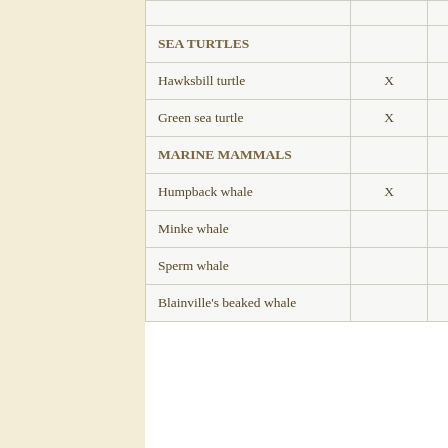| Species | Col1 | Col2 | Col3 | Col4 |
| --- | --- | --- | --- | --- |
|  |  |  |  | ≡ |
| SEA TURTLES |  |  |  |  |
| Hawksbill turtle | X |  |  |  |
| Green sea turtle | X |  |  |  |
| MARINE MAMMALS |  |  |  |  |
| Humpback whale | X |  |  |  |
| Minke whale |  |  |  | X |
| Sperm whale |  |  |  | X |
| Blainville's beaked whale |  |  | X |  |